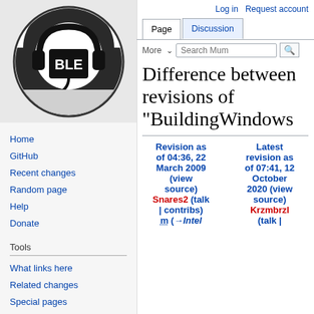[Figure (logo): Mumble wiki logo: circular black and white logo with headphones and 'BLE' text]
Home
GitHub
Recent changes
Random page
Help
Donate
Tools
What links here
Related changes
Special pages
Printable version
Permanent link
Page information
Log in   Request account
Difference between revisions of "BuildingWindows
Revision as of 04:36, 22 March 2009 (view source) Snares2 (talk | contribs) m (→Intel   Latest revision as of 07:41, 12 October 2020 (view source) Krzmbrzl (talk |